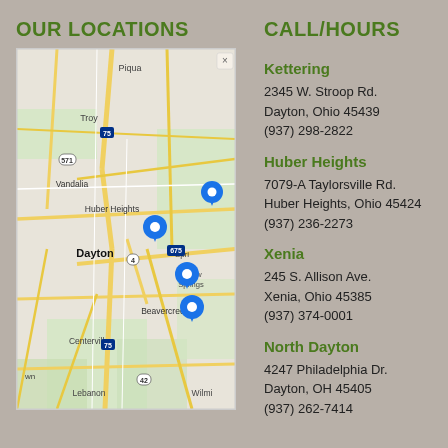OUR LOCATIONS
[Figure (map): Google Maps view showing the Dayton, Ohio area with location pins for Kettering, Huber Heights, Xenia/Beavercreek, and North Dayton/Dayton locations. Map shows cities including Piqua, Troy, Vandalia, Huber Heights, Dayton, Beavercreek, Centerville, Lebanon, Yellow Springs, Wilmi(ngton). Roads including highways 75, 675, 4, 571, 42 are visible.]
CALL/HOURS
Kettering
2345 W. Stroop Rd.
Dayton, Ohio 45439
(937) 298-2822
Huber Heights
7079-A Taylorsville Rd.
Huber Heights, Ohio 45424
(937) 236-2273
Xenia
245 S. Allison Ave.
Xenia, Ohio 45385
(937) 374-0001
North Dayton
4247 Philadelphia Dr.
Dayton, OH 45405
(937) 262-7414